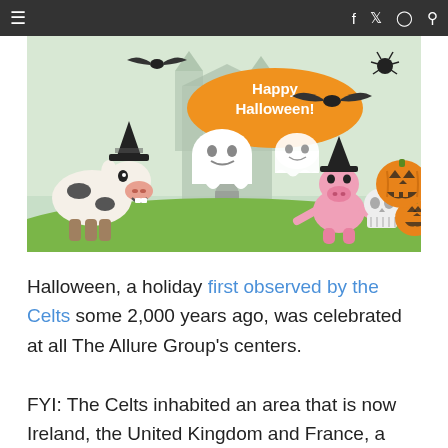≡  f  twitter  instagram  🔍
[Figure (illustration): Happy Halloween illustration with cartoon animals (cow with witch hat, pig with witch hat), two friendly ghosts, bats, a skull, two jack-o-lanterns, and a haunted house in the background. Orange speech bubble says 'Happy Halloween!'.]
Halloween, a holiday first observed by the Celts some 2,000 years ago, was celebrated at all The Allure Group's centers.
FYI: The Celts inhabited an area that is now Ireland, the United Kingdom and France, a very